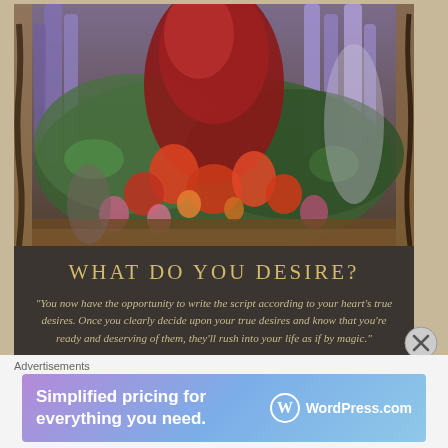[Figure (illustration): Colorful floral painting showing a garden with purple, red, and pink flowers with lush green foliage. The image appears to be the cover art of a book, framed by a wooden border with dark aged edges.]
WHAT DO YOU DESIRE?
“You now have the opportunity to write the script according to your heart’s true desires. Once you clearly decide upon your true desires and know that you’re ready and deserving of them, they’ll rush into your life as if by magic.”
Advertisements
[Figure (screenshot): Advertisement banner for WordPress.com. Gradient background from purple to light blue. Text reads: 'Simplified pricing for everything you need.' with WordPress.com logo on the right.]